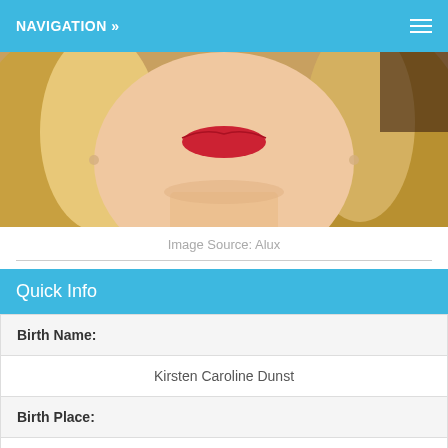NAVIGATION »
[Figure (photo): Close-up photo of a blonde woman with red lipstick and dangling earrings, cropped from chin to forehead.]
Image Source: Alux
Quick Info
| Birth Name: |  |
|  | Kirsten Caroline Dunst |
| Birth Place: |  |
|  | Point Pleasant, New Jersey, USA |
| Birth Sign: |  |
|  | Taurus |